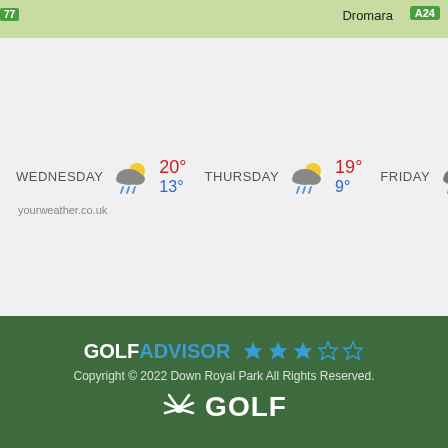[Figure (map): Map strip showing Dromara area with A24 road sign and route 77 marker on green map background]
[Figure (infographic): Weather forecast widget showing Wednesday 20°/13° with rain cloud icon, Thursday 19°/9° with rain cloud icon, Friday 17°/10° with rain cloud icon, and partial Saturday entry. Credit: yourweather.co.uk]
[Figure (logo): Golf Advisor logo with 3 filled blue stars and 2 empty stars rating, Copyright 2022 Down Royal Park All Rights Reserved, NBC Golf logo with peacock icon]